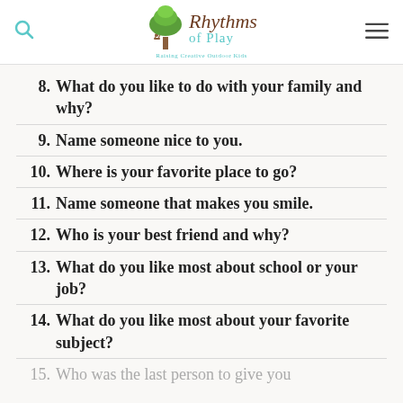Rhythms of Play — Raising Creative Outdoor Kids
8. What do you like to do with your family and why?
9. Name someone nice to you.
10. Where is your favorite place to go?
11. Name someone that makes you smile.
12. Who is your best friend and why?
13. What do you like most about school or your job?
14. What do you like most about your favorite subject?
15. Who was the last person to give you